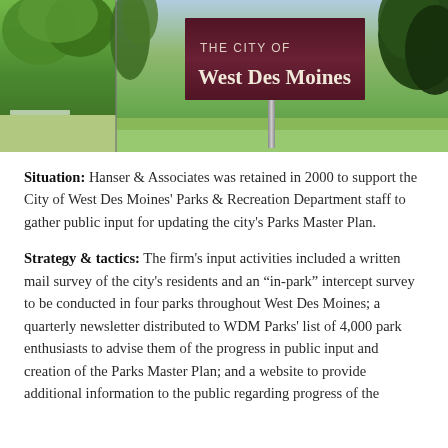[Figure (photo): Photo of a city sign reading 'THE CITY OF West Des Moines' on a dark maroon background, with trees and green landscape visible on either side]
Situation: Hanser & Associates was retained in 2000 to support the City of West Des Moines' Parks & Recreation Department staff to gather public input for updating the city's Parks Master Plan.
Strategy & tactics: The firm's input activities included a written mail survey of the city's residents and an "in-park" intercept survey to be conducted in four parks throughout West Des Moines; a quarterly newsletter distributed to WDM Parks' list of 4,000 park enthusiasts to advise them of the progress in public input and creation of the Parks Master Plan; and a website to provide additional information to the public regarding progress of the